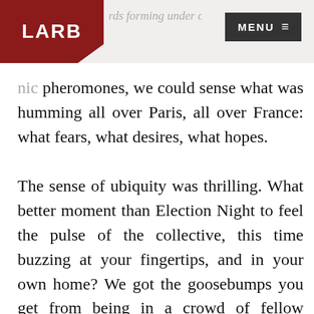LARB | rds forming under our eyes ... cheek hashtags. As if und...
nic pheromones, we could sense what was humming all over Paris, all over France: what fears, what desires, what hopes.
The sense of ubiquity was thrilling. What better moment than Election Night to feel the pulse of the collective, this time buzzing at your fingertips, and in your own home? We got the goosebumps you get from being in a crowd of fellow supporters — without the smashed toes.